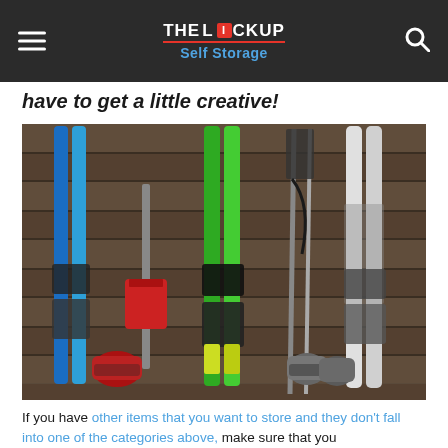THE LOCK UP Self Storage
have to get a little creative!
[Figure (photo): Ski equipment laid out on wooden planks: blue skis, red shovel, green skis with bindings, ski poles, white/black skis, red ski boots, and grey ski boots arranged flat against a wooden plank wall.]
If you have other items that you want to store and they don't fall into one of the categories above, make sure that you